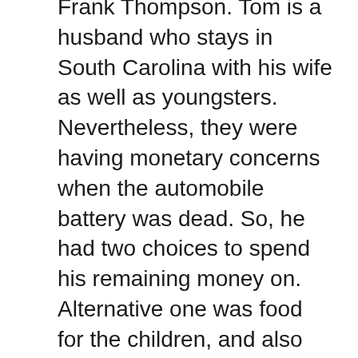Frank Thompson. Tom is a husband who stays in South Carolina with his wife as well as youngsters. Nevertheless, they were having monetary concerns when the automobile battery was dead. So, he had two choices to spend his remaining money on. Alternative one was food for the children, and also the various other one was buying a cars and truck battery. So, Ericson ends up purchasing food and might not pay the technician. Later on, he calculated how much his family invested in batteries, and also the result was shocking. Tom began looking into to locate a means to decrease costs on batteries.
During that time, Tom was working with a golf firm where he satisfied Frank Thompson,